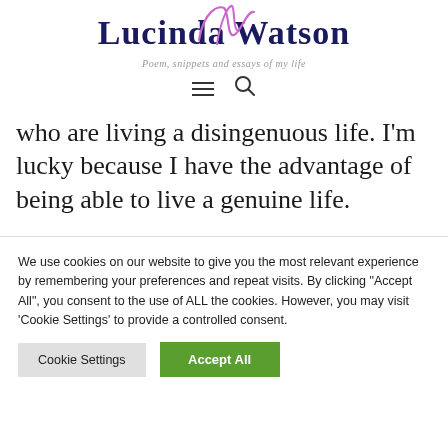Lucinda Watson
Poem, snippets and essays of my life
who are living a disingenuous life. I'm lucky because I have the advantage of being able to live a genuine life.
We use cookies on our website to give you the most relevant experience by remembering your preferences and repeat visits. By clicking "Accept All", you consent to the use of ALL the cookies. However, you may visit 'Cookie Settings' to provide a controlled consent.